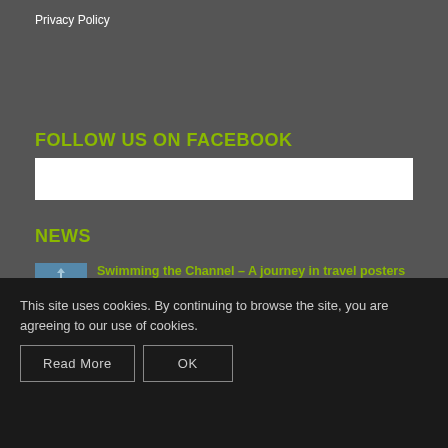Privacy Policy
FOLLOW US ON FACEBOOK
[Figure (other): White Facebook embed box placeholder]
NEWS
[Figure (photo): Small thumbnail image of swimming/water scene]
Swimming the Channel – A journey in travel posters
July 8, 2021 - 12:06 pm
Rally
March 30, 2021 - 4:23 am
Top romantic films and their iconic movie
This site uses cookies. By continuing to browse the site, you are agreeing to our use of cookies.
Read More
OK